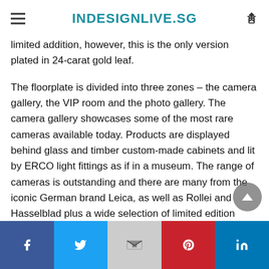INDESIGNLIVE.SG
limited addition, however, this is the only version plated in 24-carat gold leaf.

The floorplate is divided into three zones – the camera gallery, the VIP room and the photo gallery. The camera gallery showcases some of the most rare cameras available today. Products are displayed behind glass and timber custom-made cabinets and lit by ERCO light fittings as if in a museum. The range of cameras is outstanding and there are many from the iconic German brand Leica, as well as Rollei and Hasselblad plus a wide selection of limited edition cameras from around the world. There are also accessories, many handcrafted by artisans in Italy, Japan and the USA.
Facebook | Twitter | Gmail | Pinterest | LinkedIn